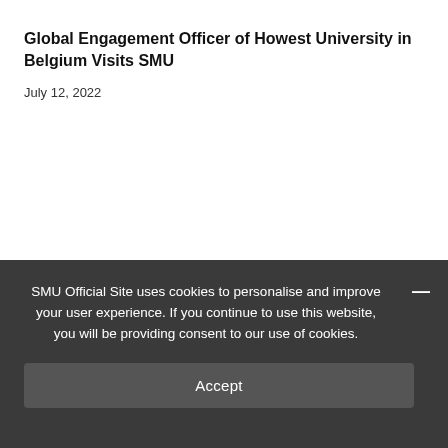Global Engagement Officer of Howest University in Belgium Visits SMU
July 12, 2022
SMU Official Site uses cookies to personalise and improve your user experience. If you continue to use this website, you will be providing consent to our use of cookies.
Accept